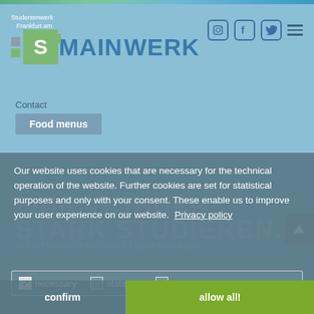[Figure (logo): Studentenwerk Frankfurt am Main S WERK logo with green and blue colors]
Contact
Food menus
Our website uses cookies that are necessary for the technical operation of the website. Further cookies are set for statistical purposes and only with your consent. These enable us to improve your user experience on our website.  Privacy policy
necessary   statistics   maps
confirm
allow all!